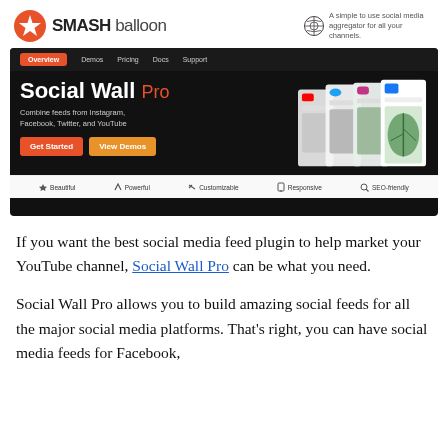[Figure (screenshot): Smash Balloon Social Wall Pro plugin homepage screenshot showing navigation bar, hero section with title and CTA buttons, stacked social media feed cards, and feature bar with Beautiful, Powerful, Customizable, Responsive, SEO-friendly attributes]
If you want the best social media feed plugin to help market your YouTube channel, Social Wall Pro can be what you need.
Social Wall Pro allows you to build amazing social feeds for all the major social media platforms. That’s right, you can have social media feeds for Facebook,